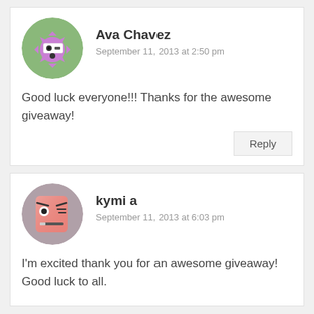[Figure (illustration): Avatar of Ava Chavez: a purple gear-shaped character with a face on a green circle background]
Ava Chavez
September 11, 2013 at 2:50 pm
Good luck everyone!!! Thanks for the awesome giveaway!
Reply
[Figure (illustration): Avatar of kymi a: an angry pink square face character on a gray circle background]
kymi a
September 11, 2013 at 6:03 pm
I'm excited thank you for an awesome giveaway! Good luck to all.